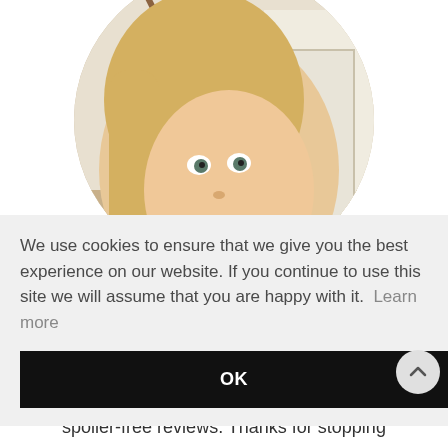[Figure (photo): Circular profile photo of a smiling blonde woman in a home hallway with stairs and a decorative table with flowers in the background.]
We use cookies to ensure that we give you the best experience on our website. If you continue to use this site we will assume that you are happy with it. Learn more
OK
spoiler-free reviews. Thanks for stopping